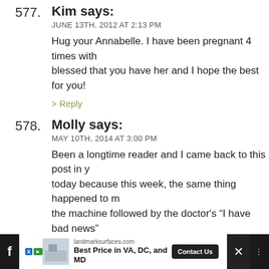577. Kim says:
JUNE 13TH, 2012 AT 2:13 PM
Hug your Annabelle. I have been pregnant 4 times with blessed that you have her and I hope the best for you!
> Reply
578. Molly says:
MAY 10TH, 2014 AT 3:00 PM
Been a longtime reader and I came back to this post in y today because this week, the same thing happened to m the machine followed by the doctor's "I have bad news" running through my head. Anyway, I just wanted to say having shared this. I am reminded that some people inc this loss.
> Reply
mccgoods says:
MAY 10TH, 2014 AT 6:15 PM
[Figure (infographic): Advertisement bar at bottom: landmarksurfaces.com — Best Price in VA, DC, and MD. Contact Us button. Facebook icon on left, close X on right.]